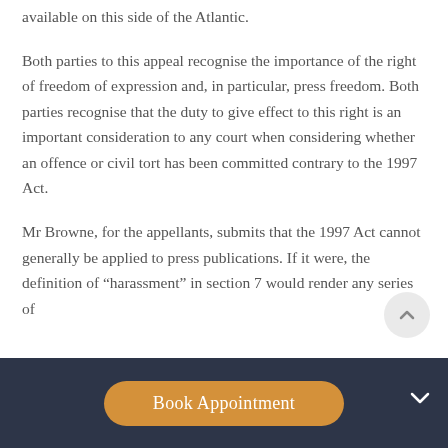available on this side of the Atlantic.
Both parties to this appeal recognise the importance of the right of freedom of expression and, in particular, press freedom. Both parties recognise that the duty to give effect to this right is an important consideration to any court when considering whether an offence or civil tort has been committed contrary to the 1997 Act.
Mr Browne, for the appellants, submits that the 1997 Act cannot generally be applied to press publications. If it were, the definition of “harassment” in section 7 would render any series of
[Figure (other): Dark navy footer bar with an orange rounded 'Book Appointment' button and a white downward arrow icon on the right side]